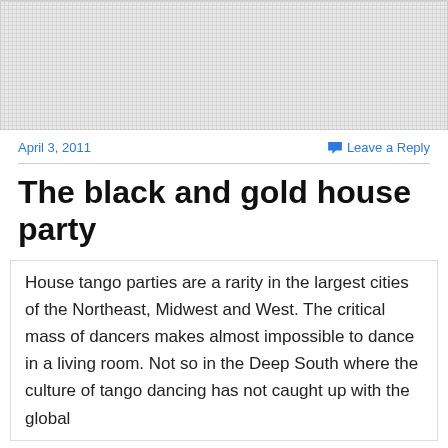[Figure (photo): Gray textured/patterned image placeholder at the top of the page]
April 3, 2011
Leave a Reply
The black and gold house party
House tango parties are a rarity in the largest cities of the Northeast, Midwest and West. The critical mass of dancers makes almost impossible to dance in a living room. Not so in the Deep South where the culture of tango dancing has not caught up with the global